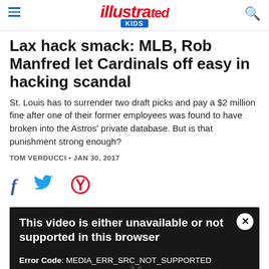Sports Illustrated KIDS
Lax hack smack: MLB, Rob Manfred let Cardinals off easy in hacking scandal
St. Louis has to surrender two draft picks and pay a $2 million fine after one of their former employees was found to have broken into the Astros' private database. But is that punishment strong enough?
TOM VERDUCCI • JAN 30, 2017
[Figure (infographic): Social media share icons: Facebook (f), Twitter (bird), Pinterest (P)]
[Figure (screenshot): Black video player error block. Text: 'This video is either unavailable or not supported in this browser'. Error Code: MEDIA_ERR_SRC_NOT_SUPPORTED. Session ID: 2022-08-21:e45b0d0614eace65b9d8de92 Player Element ID: vis_video_3]